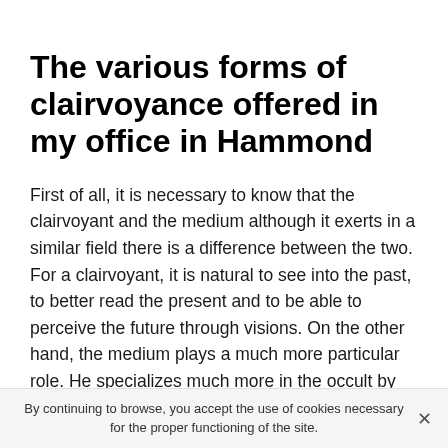The various forms of clairvoyance offered in my office in Hammond
First of all, it is necessary to know that the clairvoyant and the medium although it exerts in a similar field there is a difference between the two. For a clairvoyant, it is natural to see into the past, to better read the present and to be able to perceive the future through visions. On the other hand, the medium plays a much more particular role. He specializes much more in the occult by serving as a bridge with a dear soul who is absent from this world.
For most people in Hammond, turning to astrology or numerology seems a rational choice. While those who would like to do a more in-depth survey of their personality by means of cards will turn more to a psychic in Hammond
By continuing to browse, you accept the use of cookies necessary for the proper functioning of the site.